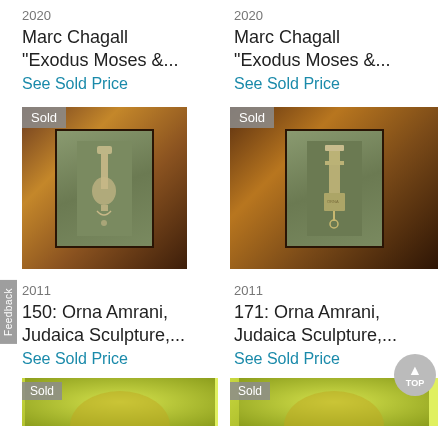2020
Marc Chagall "Exodus Moses &...
See Sold Price
2020
Marc Chagall "Exodus Moses &...
See Sold Price
[Figure (photo): Framed artwork with gold/brown ornate frame and green matted interior showing a Judaica sculpture piece, with 'Sold' badge]
[Figure (photo): Framed artwork with gold/brown ornate frame and green matted interior showing a Judaica sculpture piece, with 'Sold' badge]
2011
150: Orna Amrani, Judaica Sculpture,...
See Sold Price
2011
171: Orna Amrani, Judaica Sculpture,...
See Sold Price
[Figure (photo): Partial view of another artwork with yellow-green background, 'Sold' badge visible]
[Figure (photo): Partial view of another artwork with yellow-green background, 'Sold' badge visible]